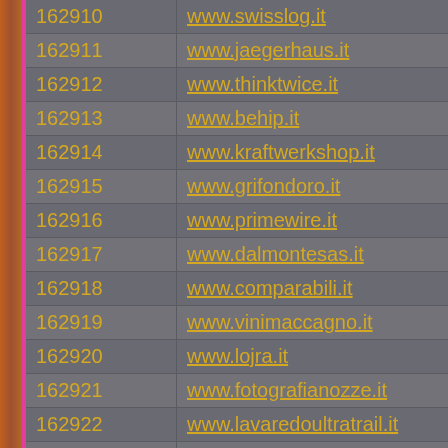| ID | URL |
| --- | --- |
| 162910 | www.swisslog.it |
| 162911 | www.jaegerhaus.it |
| 162912 | www.thinktwice.it |
| 162913 | www.behip.it |
| 162914 | www.kraftwerkshop.it |
| 162915 | www.grifondoro.it |
| 162916 | www.primewire.it |
| 162917 | www.dalmontesas.it |
| 162918 | www.comparabili.it |
| 162919 | www.vinimaccagno.it |
| 162920 | www.lojra.it |
| 162921 | www.fotografianozze.it |
| 162922 | www.lavaredoultratrail.it |
| 162923 | www.ivonet.it |
| 162924 | www.timer2000.it |
| 162925 | www.teltools.it |